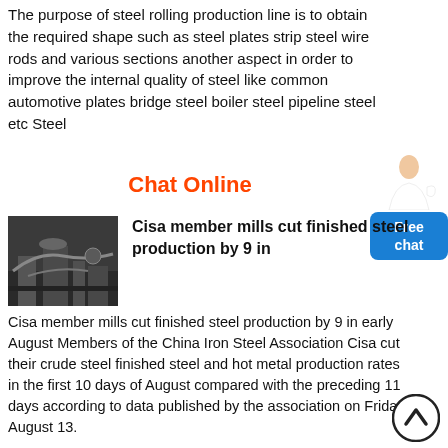The purpose of steel rolling production line is to obtain the required shape such as steel plates strip steel wire rods and various sections another aspect in order to improve the internal quality of steel like common automotive plates bridge steel boiler steel pipeline steel etc Steel
Chat Online
[Figure (photo): Industrial steel mill interior with machinery and ductwork]
Cisa member mills cut finished steel production by 9 in
Cisa member mills cut finished steel production by 9 in early August Members of the China Iron Steel Association Cisa cut their crude steel finished steel and hot metal production rates in the first 10 days of August compared with the preceding 11 days according to data published by the association on Friday August 13.